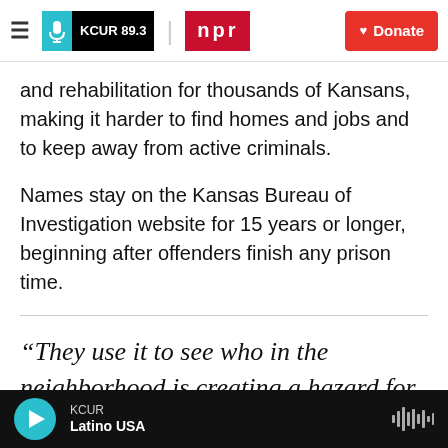KCUR 89.3 | npr | Donate
and rehabilitation for thousands of Kansans, making it harder to find homes and jobs and to keep away from active criminals.
Names stay on the Kansas Bureau of Investigation website for 15 years or longer, beginning after offenders finish any prison time.
“They use it to see who in the neighborhood is creating a hazard for their child.”
KCUR | Latino USA